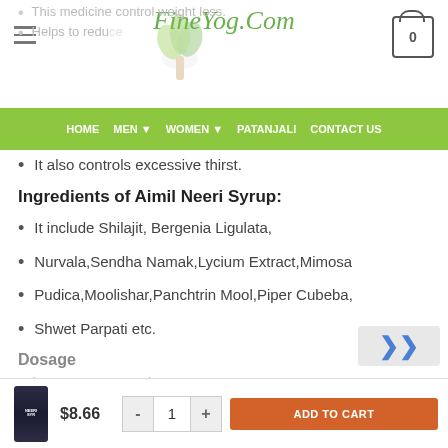FineYog.Com
This medicine control weight loss.
Helps to reduce.
HOME MEN WOMEN PATANJALI CONTACT US
It also controls excessive thirst.
Ingredients of Aimil Neeri Syrup:
It include Shilajit, Bergenia Ligulata,
Nurvala,Sendha Namak,Lycium Extract,Mimosa
Pudica,Moolishar,Panchtrin Mool,Piper Cubeba,
Shwet Parpati etc.
Dosage
Take 2 teaspoon on the stone... patient of... tablets